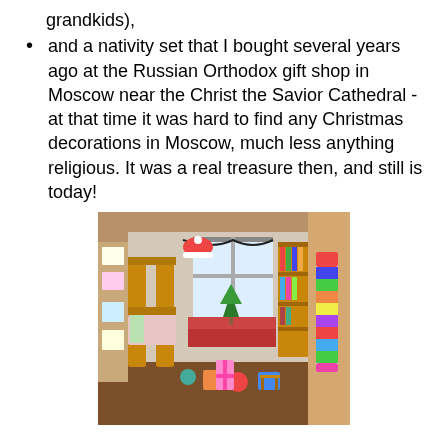grandkids),
and a nativity set that I bought several years ago at the Russian Orthodox gift shop in Moscow near the Christ the Savior Cathedral - at that time it was hard to find any Christmas decorations in Moscow, much less anything religious. It was a real treasure then, and still is today!
[Figure (photo): A room decorated for Christmas, showing bunk beds, a bookshelf, Christmas decorations hanging on a window with garland, a small Christmas tree on a windowsill, and colorful objects on the floor and walls. The room appears to be a children's bedroom with wood floors and wooden furniture.]